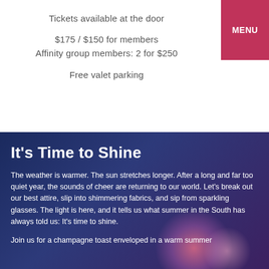Tickets available at the door
$175 / $150 for members
Affinity group members: 2 for $250
Free valet parking
It's Time to Shine
The weather is warmer. The sun stretches longer. After a long and far too quiet year, the sounds of cheer are returning to our world. Let's break out our best attire, slip into shimmering fabrics, and sip from sparkling glasses. The light is here, and it tells us what summer in the South has always told us: It's time to shine.
Join us for a champagne toast enveloped in a warm summer